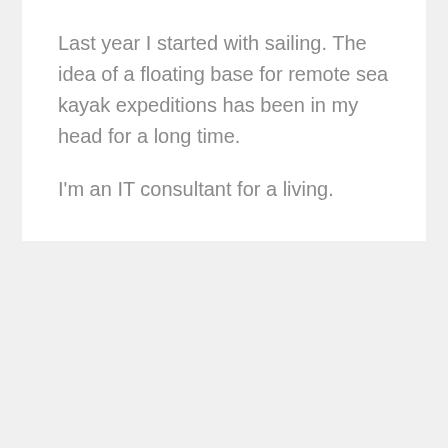Last year I started with sailing. The idea of a floating base for remote sea kayak expeditions has been in my head for a long time.

I'm an IT consultant for a living.